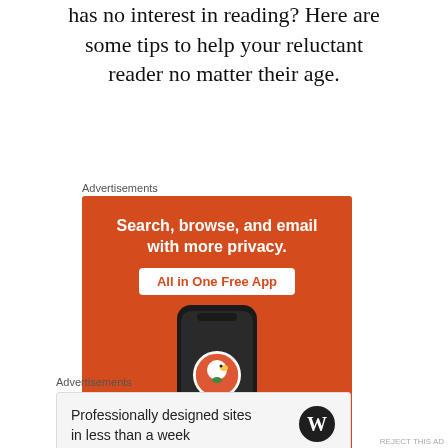has no interest in reading? Here are some tips to help your reluctant reader no matter their age.
Advertisements
[Figure (other): DuckDuckGo advertisement banner: orange background with white bold text 'Search, browse, and email with more privacy.' and a white button saying 'All in One Free App' in orange, with a phone graphic showing the DuckDuckGo logo and name.]
Advertisements
[Figure (other): WordPress advertisement: light gray box with text 'Professionally designed sites in less than a week' and WordPress logo (W in circle) on the right.]